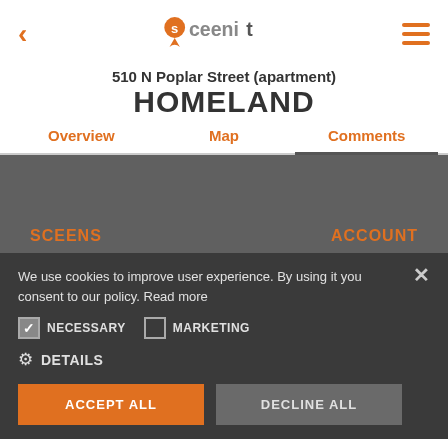[Figure (logo): Sceenit app logo with orange map pin icon and stylized text 'sceenit']
510 N Poplar Street (apartment)
HOMELAND
Overview | Map | Comments
SCEENS   ACCOUNT
We use cookies to improve user experience. By using it you consent to our policy. Read more
NECESSARY   MARKETING
DETAILS
ACCEPT ALL   DECLINE ALL